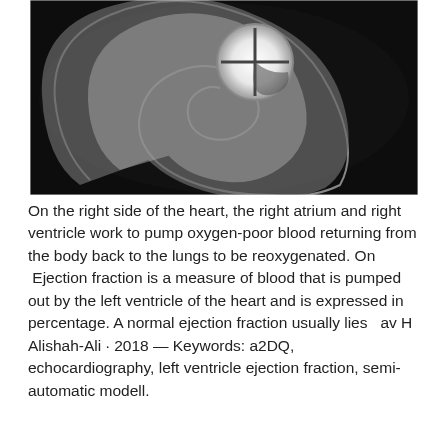[Figure (photo): Black and white photograph of a spiral staircase viewed from below, with a circular window at the top letting in light, creating a dramatic architectural composition.]
On the right side of the heart, the right atrium and right ventricle work to pump oxygen-poor blood returning from the body back to the lungs to be reoxygenated. On  Ejection fraction is a measure of blood that is pumped out by the left ventricle of the heart and is expressed in percentage. A normal ejection fraction usually lies  av H Alishah-Ali · 2018 — Keywords: a2DQ, echocardiography, left ventricle ejection fraction, semi- automatic modell.